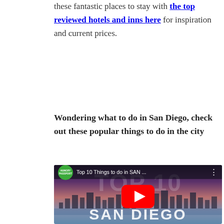these fantastic places to stay with the top reviewed hotels and inns here for inspiration and current prices.
Wondering what to do in San Diego, check out these popular things to do in the city
[Figure (screenshot): YouTube video thumbnail for 'Top 10 Things to do in SAN ...' by Hungry Passport, showing San Diego skyline with large TOP 10 text overlay and SAN DIEGO text at bottom, with a red YouTube play button in the center.]